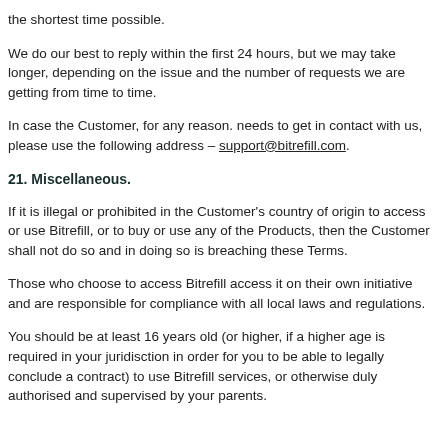the shortest time possible.
We do our best to reply within the first 24 hours, but we may take longer, depending on the issue and the number of requests we are getting from time to time.
In case the Customer, for any reason. needs to get in contact with us, please use the following address – support@bitrefill.com.
21. Miscellaneous.
If it is illegal or prohibited in the Customer's country of origin to access or use Bitrefill, or to buy or use any of the Products, then the Customer shall not do so and in doing so is breaching these Terms.
Those who choose to access Bitrefill access it on their own initiative and are responsible for compliance with all local laws and regulations.
You should be at least 16 years old (or higher, if a higher age is required in your juridisction in order for you to be able to legally conclude a contract) to use Bitrefill services, or otherwise duly authorised and supervised by your parents.